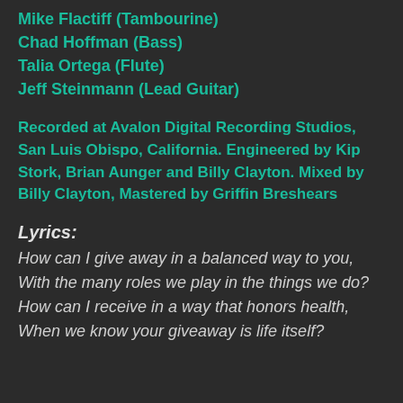Mike Flactiff (Tambourine)
Chad Hoffman (Bass)
Talia Ortega (Flute)
Jeff Steinmann (Lead Guitar)
Recorded at Avalon Digital Recording Studios, San Luis Obispo, California. Engineered by Kip Stork, Brian Aunger and Billy Clayton. Mixed by Billy Clayton, Mastered by Griffin Breshears
Lyrics:
How can I give away in a balanced way to you, With the many roles we play in the things we do? How can I receive in a way that honors health, When we know your giveaway is life itself?